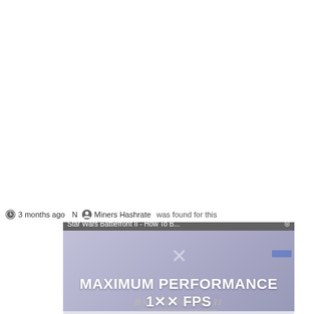[Figure (screenshot): Blank white upper portion of a webpage]
3 months ago   Miners Hashrate
[Figure (screenshot): Video overlay showing 'Star Wars Battlefront II - How To B...' with a no-media-found overlay and BATTLEFRONT II logo with X mark, and MAXIMUM PERFORMANCE text at bottom]